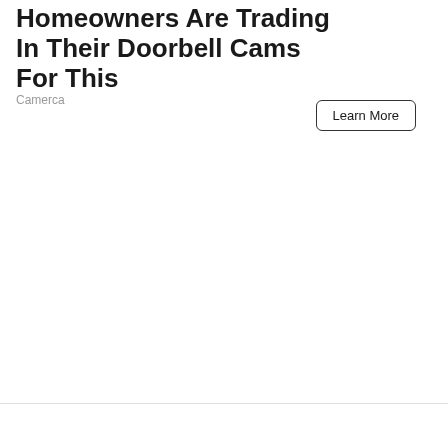Homeowners Are Trading In Their Doorbell Cams For This
Camerca
Learn More